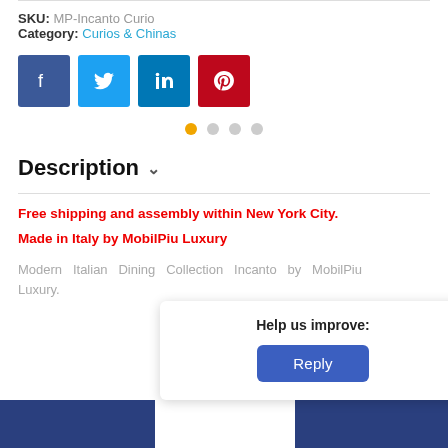SKU: MP-Incanto Curio
Category: Curios & Chinas
[Figure (infographic): Four social media share buttons: Facebook (blue), Twitter (light blue), LinkedIn (dark blue), Pinterest (red)]
[Figure (infographic): Carousel dots: one orange (active), three gray]
Description
Free shipping and assembly within New York City.
Made in Italy by MobilPiu Luxury
Modern Italian Dining Collection Incanto by MobilPiu Luxury.
Help us improve:
Reply